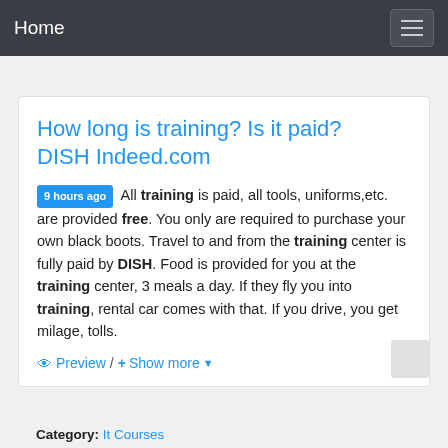Home
How long is training? Is it paid? DISH Indeed.com
9 hours ago All training is paid, all tools, uniforms,etc. are provided free. You only are required to purchase your own black boots. Travel to and from the training center is fully paid by DISH. Food is provided for you at the training center, 3 meals a day. If they fly you into training, rental car comes with that. If you drive, you get milage, tolls.
Preview / + Show more
Category: It Courses